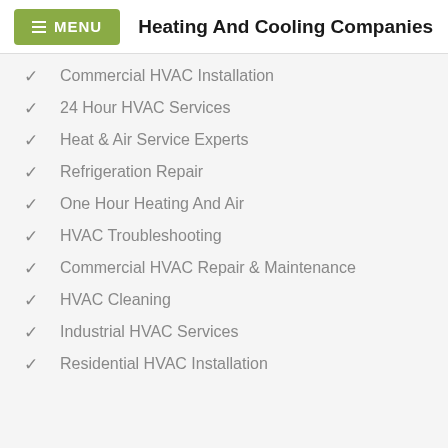MENU  Heating And Cooling Companies
Commercial HVAC Installation
24 Hour HVAC Services
Heat & Air Service Experts
Refrigeration Repair
One Hour Heating And Air
HVAC Troubleshooting
Commercial HVAC Repair & Maintenance
HVAC Cleaning
Industrial HVAC Services
Residential HVAC Installation